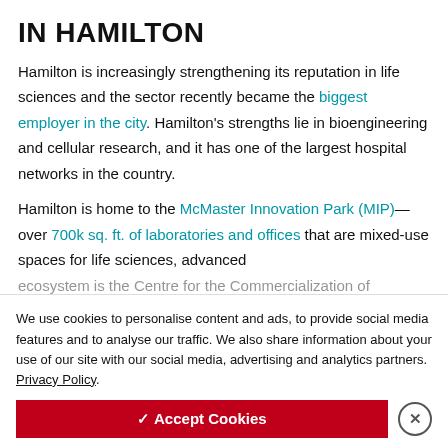IN HAMILTON
Hamilton is increasingly strengthening its reputation in life sciences and the sector recently became the biggest employer in the city. Hamilton's strengths lie in bioengineering and cellular research, and it has one of the largest hospital networks in the country.
Hamilton is home to the McMaster Innovation Park (MIP)—over 700k sq. ft. of laboratories and offices that are mixed-use spaces for life sciences, advanced
ecosystem is the Centre for the Commercialization of
partnership with McMaster U
demonstrates the innovation support of 5...
We use cookies to personalise content and ads, to provide social media features and to analyse our traffic. We also share information about your use of our site with our social media, advertising and analytics partners. Privacy Policy
✓ Accept Cookies